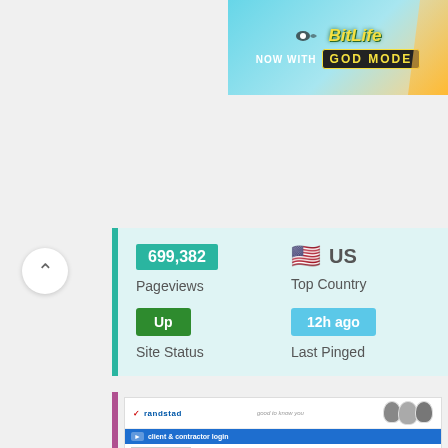[Figure (screenshot): BitLife advertisement banner with 'NOW WITH GOD MODE' text on a light blue and orange background]
699,382
Pageviews
US
Top Country
Up
Site Status
12h ago
Last Pinged
[Figure (screenshot): Screenshot of Randstad website showing client and contractor login page with people photo and form fields]